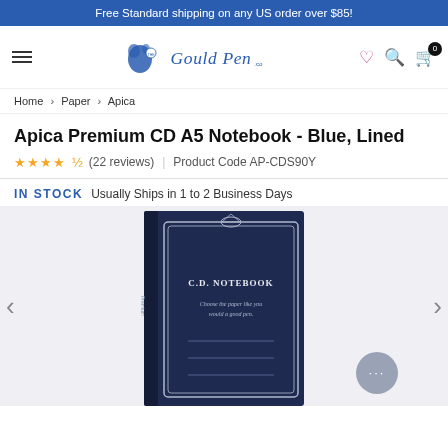Free Standard shipping on any US order over $85!
[Figure (logo): The Gould Pen Co. logo with blue ink splash and cursive script]
Home > Paper > Apica
Apica Premium CD A5 Notebook - Blue, Lined
★★★★½ (22 reviews) | Product Code AP-CDS90Y
IN STOCK   Usually Ships in 1 to 2 Business Days
[Figure (photo): Apica Premium CD A5 Notebook with dark blue cover showing ornate silver border design, text reading C.D. NOTEBOOK and Choose the paper like you would a good pen]